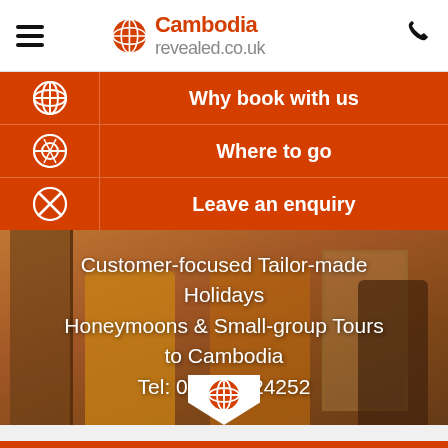Cambodia revealed.co.uk
Why book with us
Where to go
Leave an enquiry
[Figure (photo): Photo of Buddhist monks in orange robes with orange color overlay, used as hero background]
Customer-focused Tailor-made Holidays Honeymoons & Small-group Tours to Cambodia
Tel: 01932 424252
Home